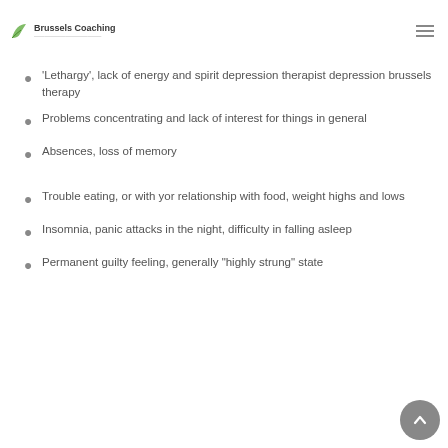Brussels Coaching
'Lethargy', lack of energy and spirit depression therapist depression brussels therapy
Problems concentrating and lack of interest for things in general
Absences, loss of memory
Trouble eating, or with yor relationship with food, weight highs and lows
Insomnia, panic attacks in the night, difficulty in falling asleep
Permanent guilty feeling, generally “highly strung” state